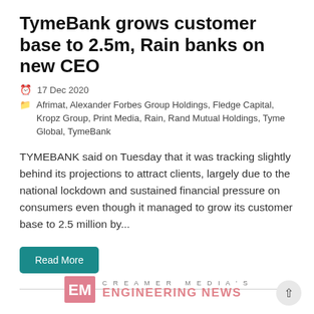TymeBank grows customer base to 2.5m, Rain banks on new CEO
17 Dec 2020
Afrimat, Alexander Forbes Group Holdings, Fledge Capital, Kropz Group, Print Media, Rain, Rand Mutual Holdings, Tyme Global, TymeBank
TYMEBANK said on Tuesday that it was tracking slightly behind its projections to attract clients, largely due to the national lockdown and sustained financial pressure on consumers even though it managed to grow its customer base to 2.5 million by...
Read More
[Figure (logo): Creamer Media's Engineering News logo at bottom of page]